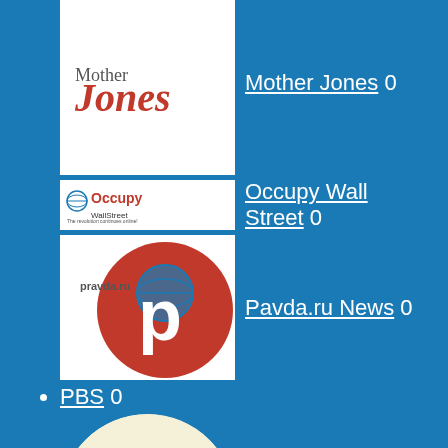Mother Jones 0
Occupy Wall Street 0
Pavda.ru News 0
PBS 0
Periódico Alternativo Spanish 0
PROPUBLICA 0
Redacted Tonight 0